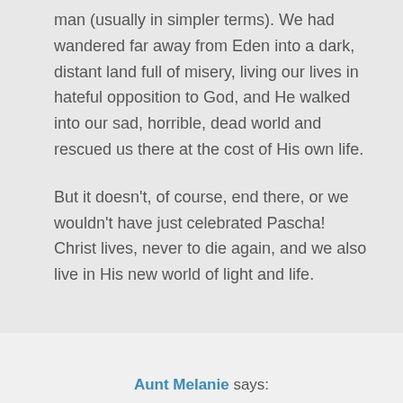man (usually in simpler terms). We had wandered far away from Eden into a dark, distant land full of misery, living our lives in hateful opposition to God, and He walked into our sad, horrible, dead world and rescued us there at the cost of His own life.
But it doesn’t, of course, end there, or we wouldn’t have just celebrated Pascha! Christ lives, never to die again, and we also live in His new world of light and life.
Aunt Melanie says: